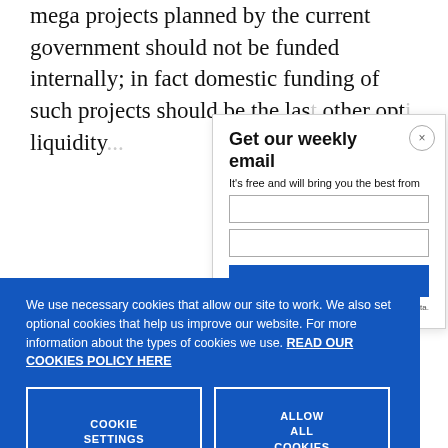mega projects planned by the current government should not be funded internally; in fact domestic funding of such projects should be the las other opt liquidity
Get our weekly email
It's free and will bring you the best from
We use necessary cookies that allow our site to work. We also set optional cookies that help us improve our website. For more information about the types of cookies we use. READ OUR COOKIES POLICY HERE
COOKIE SETTINGS
ALLOW ALL COOKIES
data.
g the f